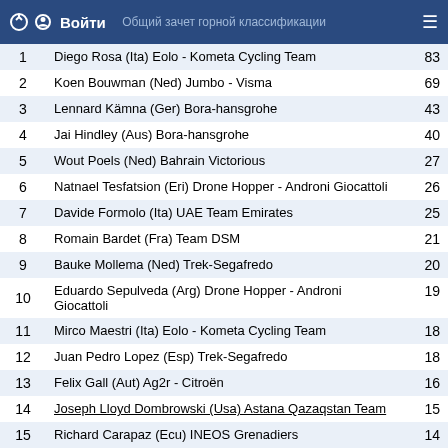Войти | Общий зачет горной классификации
| # | Rider | Pts |
| --- | --- | --- |
| 1 | Diego Rosa (Ita) Eolo - Kometa Cycling Team | 83 |
| 2 | Koen Bouwman (Ned) Jumbo - Visma | 69 |
| 3 | Lennard Kämna (Ger) Bora-hansgrohe | 43 |
| 4 | Jai Hindley (Aus) Bora-hansgrohe | 40 |
| 5 | Wout Poels (Ned) Bahrain Victorious | 27 |
| 6 | Natnael Tesfatsion (Eri) Drone Hopper - Androni Giocattoli | 26 |
| 7 | Davide Formolo (Ita) UAE Team Emirates | 25 |
| 8 | Romain Bardet (Fra) Team DSM | 21 |
| 9 | Bauke Mollema (Ned) Trek-Segafredo | 20 |
| 10 | Eduardo Sepulveda (Arg) Drone Hopper - Androni Giocattoli | 19 |
| 11 | Mirco Maestri (Ita) Eolo - Kometa Cycling Team | 18 |
| 12 | Juan Pedro Lopez (Esp) Trek-Segafredo | 18 |
| 13 | Felix Gall (Aut) Ag2r - Citroën | 16 |
| 14 | Joseph Lloyd Dombrowski (Usa) Astana Qazaqstan Team | 15 |
| 15 | Richard Carapaz (Ecu) INEOS Grenadiers | 14 |
| 16 | Nans Peters (Fra) Ag2r - Citroën | 13 |
| 17 | Rein Taaramae (Est) Intermarche-Wanty-Gobert Materiaux | 12 |
| 18 | Mattia Bais (Ita) Drone Hopper - Androni Giocattoli | 12 |